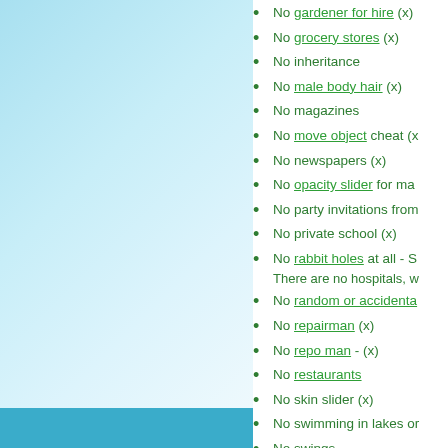[Figure (illustration): Light blue gradient background panel on the left side of the page with a teal/cyan bar at the bottom]
No gardener for hire (x)
No grocery stores (x)
No inheritance
No male body hair (x)
No magazines
No move object cheat (x)
No newspapers (x)
No opacity slider for ma
No party invitations from
No private school (x)
No rabbit holes at all - S There are no hospitals, w
No random or accidenta
No repairman (x)
No repo man - (x)
No restaurants
No skin slider (x)
No swimming in lakes or
No swings
No tragic clown or socia